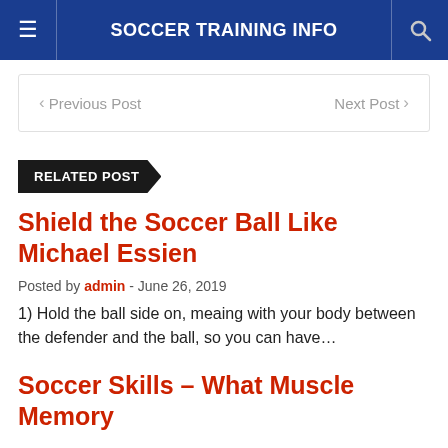SOCCER TRAINING INFO
< Previous Post    Next Post >
RELATED POST
Shield the Soccer Ball Like Michael Essien
Posted by admin - June 26, 2019
1) Hold the ball side on, meaing with your body between the defender and the ball, so you can have...
Soccer Skills – What Muscle Memory